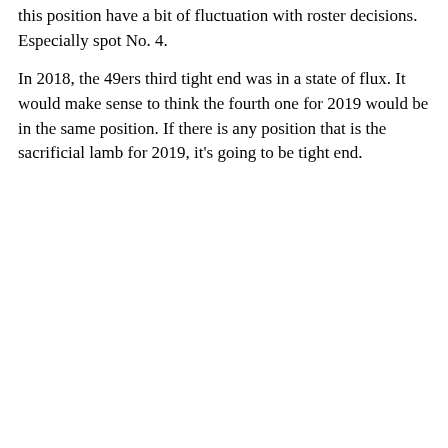this position have a bit of fluctuation with roster decisions. Especially spot No. 4.
In 2018, the 49ers third tight end was in a state of flux. It would make sense to think the fourth one for 2019 would be in the same position. If there is any position that is the sacrificial lamb for 2019, it's going to be tight end.